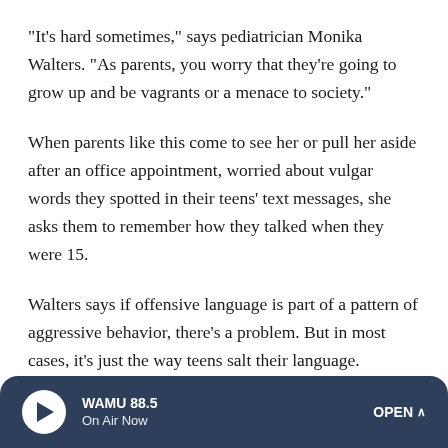"It's hard sometimes," says pediatrician Monika Walters. "As parents, you worry that they're going to grow up and be vagrants or a menace to society."
When parents like this come to see her or pull her aside after an office appointment, worried about vulgar words they spotted in their teens' text messages, she asks them to remember how they talked when they were 15.
Walters says if offensive language is part of a pattern of aggressive behavior, there's a problem. But in most cases, it's just the way teens salt their language.
"Obscenity is a sure ticket to adulthood," says Paul Bloom.
WAMU 88.5 | On Air Now | OPEN